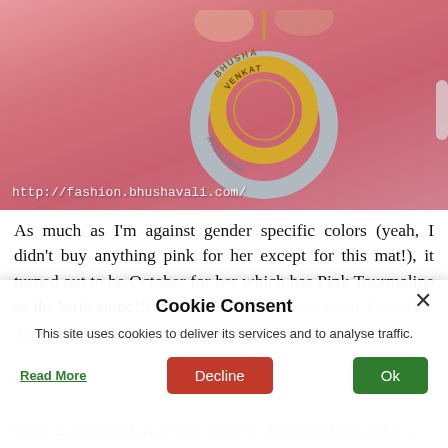[Figure (photo): A hand holding a gold and silver interlocking ring pendant necklace engraved with names BHUSHA, VENKAT, AYUDABINI on a pink background. URL: http://fashion.bhushavali.com/ visible at bottom left.]
As much as I'm against gender specific colors (yeah, I didn't buy anything pink for her except for this mat!), it turned out to be October for her which has Pink Tourmaline as the birth stone!!! Well, on this lovely occasion, Orosilber did send over a gift for me and my...
Cookie Consent
This site uses cookies to deliver its services and to analyse traffic.
Read More   Decline   Ok
other is engraved as to her. They've also provided a few...